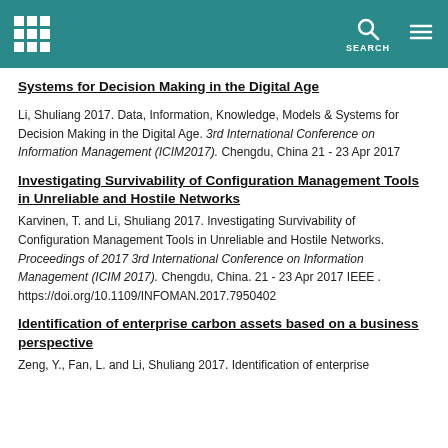Systems for Decision Making in the Digital Age
Li, Shuliang 2017. Data, Information, Knowledge, Models & Systems for Decision Making in the Digital Age. 3rd International Conference on Information Management (ICIM2017). Chengdu, China 21 - 23 Apr 2017
Investigating Survivability of Configuration Management Tools in Unreliable and Hostile Networks
Karvinen, T. and Li, Shuliang 2017. Investigating Survivability of Configuration Management Tools in Unreliable and Hostile Networks. Proceedings of 2017 3rd International Conference on Information Management (ICIM 2017). Chengdu, China. 21 - 23 Apr 2017 IEEE . https://doi.org/10.1109/INFOMAN.2017.7950402
Identification of enterprise carbon assets based on a business perspective
Zeng, Y., Fan, L. and Li, Shuliang 2017. Identification of enterprise